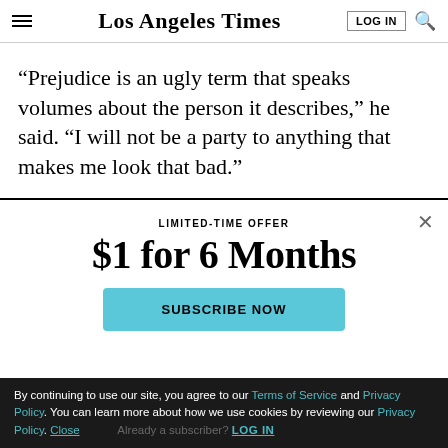Los Angeles Times
“Prejudice is an ugly term that speaks volumes about the person it describes,” he said. “I will not be a party to anything that makes me look that bad.”
LIMITED-TIME OFFER
$1 for 6 Months
SUBSCRIBE NOW
By continuing to use our site, you agree to our Terms of Service and Privacy Policy. You can learn more about how we use cookies by reviewing our Privacy Policy. Close
Already a subscriber? LOG IN